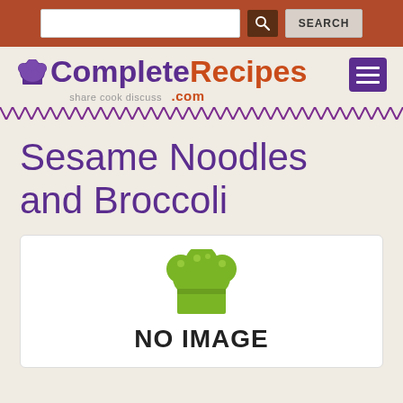CompleteRecipes.com - share cook discuss
Sesame Noodles and Broccoli
[Figure (illustration): No image placeholder with chef hat icon and text 'NO IMAGE' on white background with rounded border]